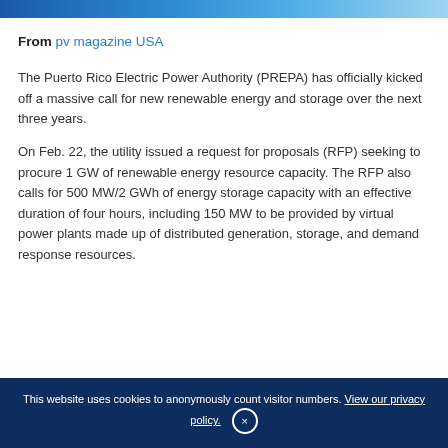[Figure (photo): Partial banner/header image with blue gradient, appears to be a news article header photo]
From pv magazine USA
The Puerto Rico Electric Power Authority (PREPA) has officially kicked off a massive call for new renewable energy and storage over the next three years.
On Feb. 22, the utility issued a request for proposals (RFP) seeking to procure 1 GW of renewable energy resource capacity. The RFP also calls for 500 MW/2 GWh of energy storage capacity with an effective duration of four hours, including 150 MW to be provided by virtual power plants made up of distributed generation, storage, and demand response resources.
This website uses cookies to anonymously count visitor numbers. View our privacy policy. ×